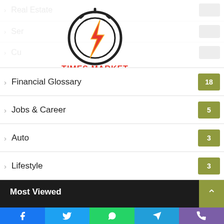[Figure (logo): Times Market logo — stopwatch with lightning bolt and orange text 'TIMES MARKET']
Financial Glossary 18
Jobs & Career 5
Auto 3
Lifestyle 3
Science 1
CBD 1
Finance 1
Most Viewed